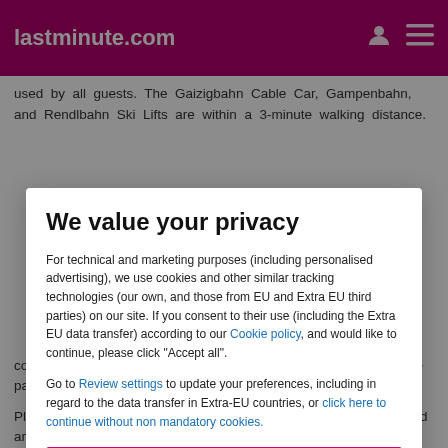lastminute.com
used by all guests. The Gaizigbahn Cable Car, Gampenbahn, and Rendlbahn Ski Lifts are within a 3-minute walking distance.
We value your privacy
For technical and marketing purposes (including personalised advertising), we use cookies and other similar tracking technologies (our own, and those from EU and Extra EU third parties) on our site. If you consent to their use (including the Extra EU data transfer) according to our Cookie policy, and would like to continue, please click "Accept all".
Go to Review settings to update your preferences, including in regard to the data transfer in Extra-EU countries, or click here to continue without non mandatory cookies.
ACCEPT ALL
course can be reached within a 5-minute walk and free private parking in an underground garage is possible on site.
Please inform Hotel Griesbr... in advance of your expected arrival time. You can use the Special Requests box when